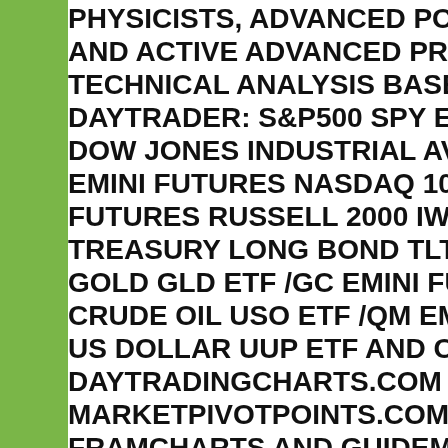PHYSICISTS, ADVANCED PORTFOLIO AND ACTIVE ADVANCED PROFESSIONAL TECHNICAL ANALYSIS BASED RISK DAYTRADER: S&P500 SPY ETF /ES DOW JONES INDUSTRIAL AVERAGE EMINI FUTURES NASDAQ 100 QQQ FUTURES RUSSELL 2000 IWM /RTY TREASURY LONG BOND TLT ETF /Z GOLD GLD ETF /GC EMINI FUTURES CRUDE OIL USO ETF /QM EMINI FU US DOLLAR UUP ETF AND OTHERS DAYTRADINGCHARTS.COM AND MARKETPIVOTPOINTS.COM: FOCU FRAMCHARTS AND GUIDEMAP GR FROM THE ECHOVECTOR ANALYS ASSOCIATES' NETWORK GLOBAL C LABORATORY AND THE OPTIONPIV